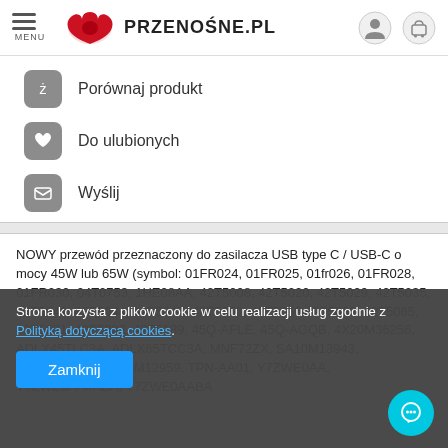MENU — PRZENOŚNE.PL
Porównaj produkt
Do ulubionych
Wyślij
NOWY przewód przeznaczony do zasilacza USB type C / USB-C o mocy 45W lub 65W (symbol: 01FR024, 01FR025, 01fr026, 01FR028, 01FR030, 04T0753, 1HE08AA, 42T5008, 42T5020, 42T5029, 42T5035, 42T5041, 42T5044, 42T5047, 42T5050, 42T5056,42T5062, 42T5065, 42T5071, 42T5082, 42T5189, 45Q-AFLE, 45Q-AGQB, 4X20M36256, ADLX45TLC3A, ADLX65TCC3A, MNF72ZX, SA10M13943, SA10M13948, SA10M12959, TPN-AA01, Y7ZWE0AA, Y7ZWE0AA#ABA, Y7ZWE0AABA
Strona korzysta z plików cookie w celu realizacji usług zgodnie z Polityką dotyczącą cookies.
Zamknij